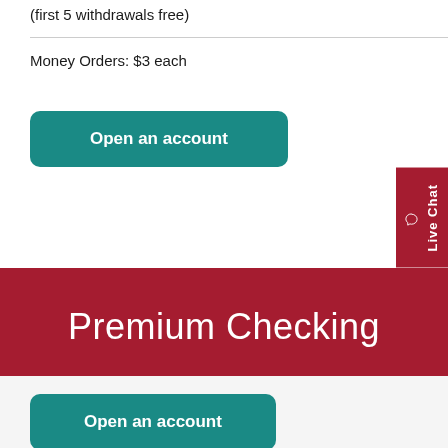(first 5 withdrawals free)
Money Orders: $3 each
Open an account
Premium Checking
Open an account